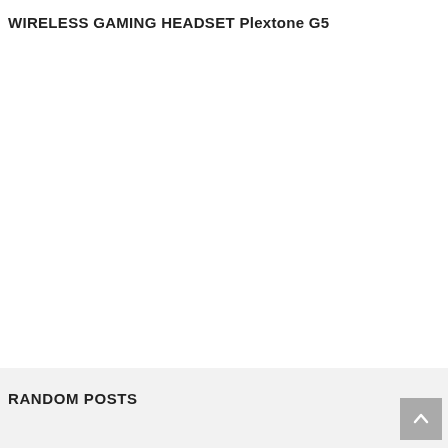WIRELESS GAMING HEADSET Plextone G5
RANDOM POSTS